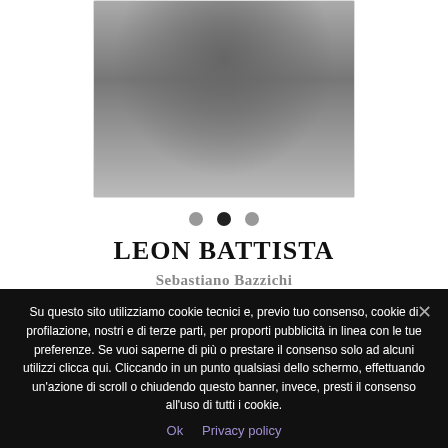[Figure (photo): Black and white photograph of a person, partially visible, sitting or crouching against a stone wall background]
● ● ●  (carousel dots, middle one active/dark)
LEON BATTISTA
Sebastiano Bazzichi
– DOWNLOAD RESUME –
Su questo sito utilizziamo cookie tecnici e, previo tuo consenso, cookie di profilazione, nostri e di terze parti, per proporti pubblicità in linea con le tue preferenze. Se vuoi saperne di più o prestare il consenso solo ad alcuni utilizzi clicca qui. Cliccando in un punto qualsiasi dello schermo, effettuando un'azione di scroll o chiudendo questo banner, invece, presti il consenso all'uso di tutti i cookie.
Ok  Privacy policy